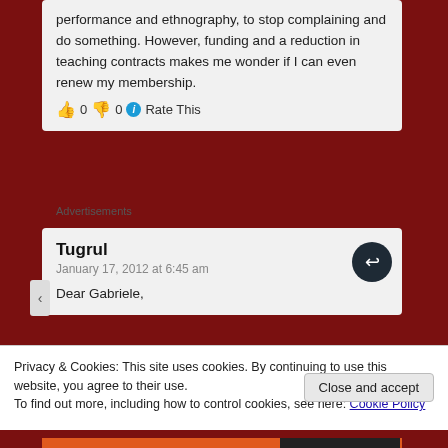performance and ethnography, to stop complaining and do something. However, funding and a reduction in teaching contracts makes me wonder if I can even renew my membership.
👍 0 👎 0 ℹ Rate This
Advertisements
Tugrul
January 17, 2012 at 6:45 am
Dear Gabriele,
Privacy & Cookies: This site uses cookies. By continuing to use this website, you agree to their use.
To find out more, including how to control cookies, see here: Cookie Policy
Close and accept